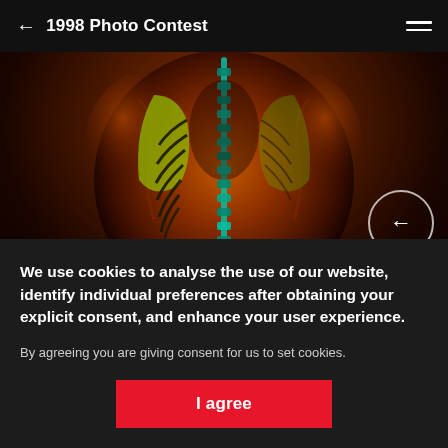← 1998 Photo Contest
[Figure (photo): Medical/anatomical 3D rendered image showing human torso from behind with visible skeletal structures highlighted in green and teal against warm orange-red muscle tissue background]
We use cookies to analyse the use of our website, identify individual preferences after obtaining your explicit consent, and enhance your user experience.
By agreeing you are giving consent for us to set cookies.
I agree
Photostory: 11 of 12